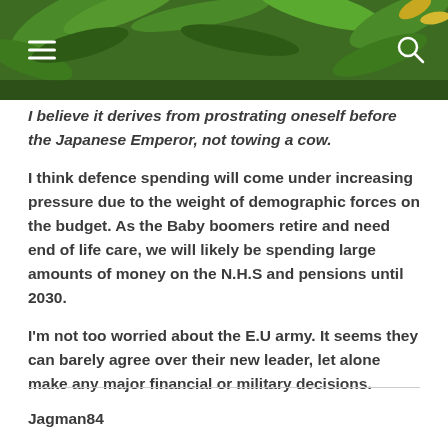John Redwood's Diary
I believe it derives from prostrating oneself before the Japanese Emperor, not towing a cow.
I think defence spending will come under increasing pressure due to the weight of demographic forces on the budget. As the Baby boomers retire and need end of life care, we will likely be spending large amounts of money on the N.H.S and pensions until 2030.
I'm not too worried about the E.U army. It seems they can barely agree over their new leader, let alone make any major financial or military decisions.
Jagman84